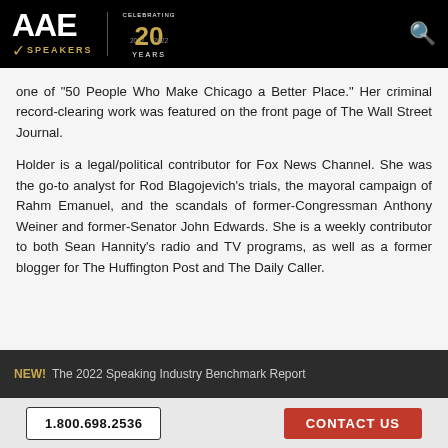AAE SPEAKERS — Celebrating 20 Years
one of "50 People Who Make Chicago a Better Place." Her criminal record-clearing work was featured on the front page of The Wall Street Journal.
Holder is a legal/political contributor for Fox News Channel. She was the go-to analyst for Rod Blagojevich's trials, the mayoral campaign of Rahm Emanuel, and the scandals of former-Congressman Anthony Weiner and former-Senator John Edwards. She is a weekly contributor to both Sean Hannity's radio and TV programs, as well as a former blogger for The Huffington Post and The Daily Caller.
NEW! The 2022 Speaking Industry Benchmark Report
1.800.698.2536
CONTACT US